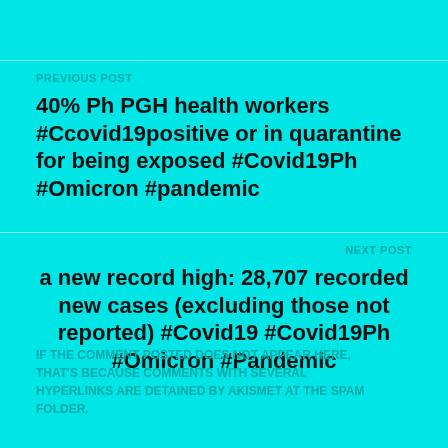PREVIOUS POST
40% Ph PGH health workers #Ccovid19positive or in quarantine for being exposed #Covid19Ph #Omicron #pandemic
NEXT POST
a new record high: 28,707 recorded new cases (excluding those not reported) #Covid19 #Covid19Ph #Omicron #Pandemic
IF THE COMMENT POSTED DOES NOT APPEAR HERE, THAT'S BECAUSE COMMENTS WITH SEVERAL HYPERLINKS ARE DETAINED BY AKISMET AT THE SPAM FOLDER.